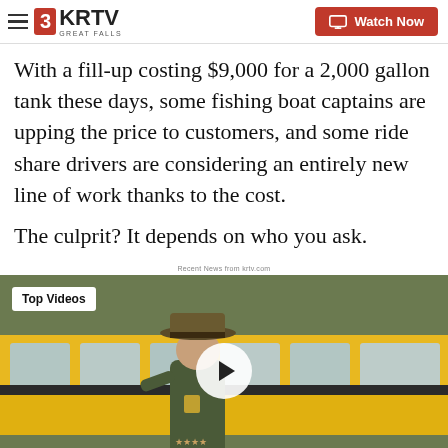3KRTV GREAT FALLS | Watch Now
With a fill-up costing $9,000 for a 2,000 gallon tank these days, some fishing boat captains are upping the price to customers, and some ride share drivers are considering an entirely new line of work thanks to the cost.
The culprit? It depends on who you ask.
Recent News from krtv.com
[Figure (screenshot): Video thumbnail showing a law enforcement officer in uniform near a yellow school bus, with a 'Top Videos' label overlay and a play button in the center.]